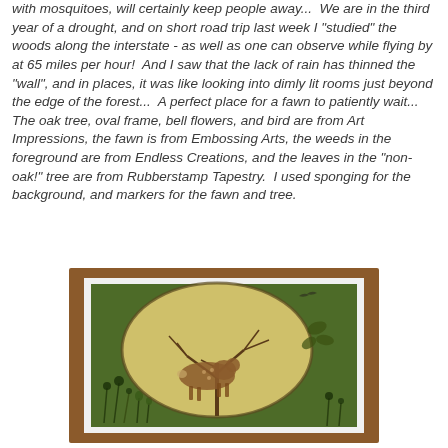with mosquitoes, will certainly keep people away...  We are in the third year of a drought, and on short road trip last week I "studied" the woods along the interstate - as well as one can observe while flying by at 65 miles per hour!  And I saw that the lack of rain has thinned the "wall", and in places, it was like looking into dimly lit rooms just beyond the edge of the forest...  A perfect place for a fawn to patiently wait...  The oak tree, oval frame, bell flowers, and bird are from Art Impressions, the fawn is from Embossing Arts, the weeds in the foreground are from Endless Creations, and the leaves in the "non-oak!" tree are from Rubberstamp Tapestry.  I used sponging for the background, and markers for the fawn and tree.
[Figure (photo): A rubber stamp art card showing a fawn inside an oval frame, set against a dark green background. The card is mounted on a brown/orange mat. The oval contains a golden-yellow background with a deer/fawn, an oak tree with bare branches, weeds and flowers in the foreground, and a small bird near the top right.]